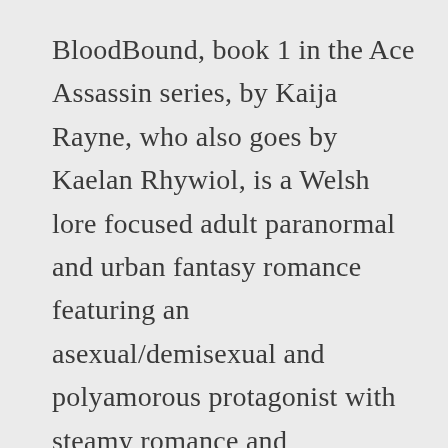BloodBound, book 1 in the Ace Assassin series, by Kaija Rayne, who also goes by Kaelan Rhywiol, is a Welsh lore focused adult paranormal and urban fantasy romance featuring an asexual/demisexual and polyamorous protagonist with steamy romance and otherworldly mystique.